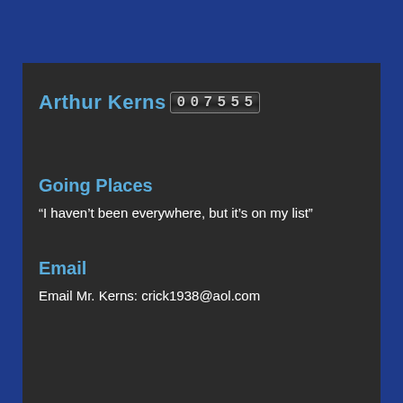Arthur Kerns 007555
Going Places
“I haven’t been everywhere, but it’s on my list”
Email
Email Mr. Kerns: crick1938@aol.com